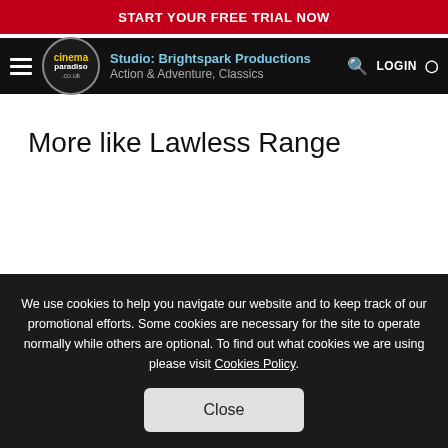START YOUR FREE TRIAL NOW
Cinema Paradiso | Action & Adventure, Classics | LOGIN
More like Lawless Range
We use cookies to help you navigate our website and to keep track of our promotional efforts. Some cookies are necessary for the site to operate normally while others are optional. To find out what cookies we are using please visit Cookies Policy.
Close